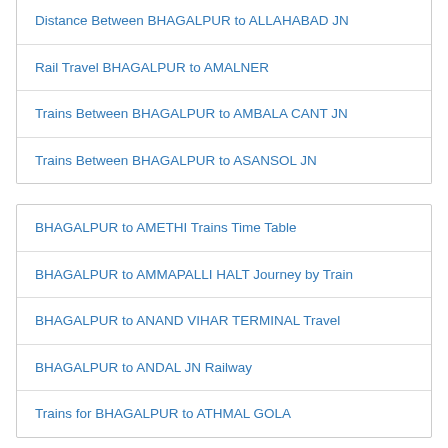Distance Between BHAGALPUR to ALLAHABAD JN
Rail Travel BHAGALPUR to AMALNER
Trains Between BHAGALPUR to AMBALA CANT JN
Trains Between BHAGALPUR to ASANSOL JN
BHAGALPUR to AMETHI Trains Time Table
BHAGALPUR to AMMAPALLI HALT Journey by Train
BHAGALPUR to ANAND VIHAR TERMINAL Travel
BHAGALPUR to ANDAL JN Railway
Trains for BHAGALPUR to ATHMAL GOLA